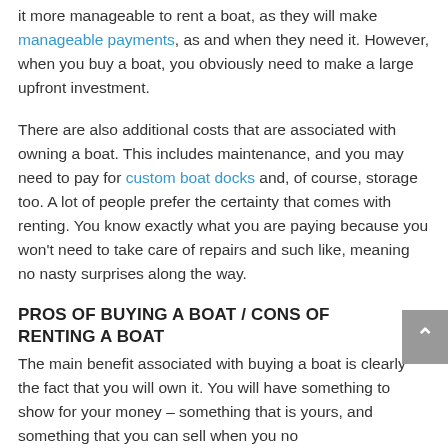it more manageable to rent a boat, as they will make manageable payments, as and when they need it. However, when you buy a boat, you obviously need to make a large upfront investment.
There are also additional costs that are associated with owning a boat. This includes maintenance, and you may need to pay for custom boat docks and, of course, storage too. A lot of people prefer the certainty that comes with renting. You know exactly what you are paying because you won't need to take care of repairs and such like, meaning no nasty surprises along the way.
PROS OF BUYING A BOAT / CONS OF RENTING A BOAT
The main benefit associated with buying a boat is clearly the fact that you will own it. You will have something to show for your money – something that is yours, and something that you can sell when you no longer need it. Plus, it beats renting every time you...